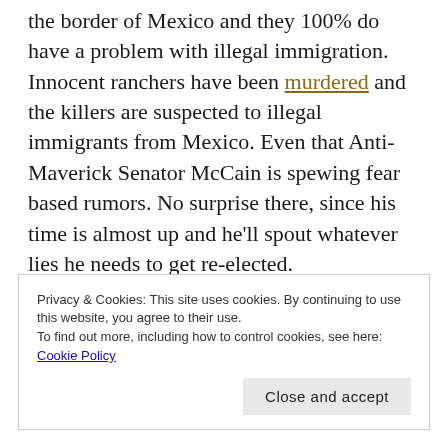the border of Mexico and they 100% do have a problem with illegal immigration. Innocent ranchers have been murdered and the killers are suspected to illegal immigrants from Mexico. Even that Anti-Maverick Senator McCain is spewing fear based rumors. No surprise there, since his time is almost up and he'll spout whatever lies he needs to get re-elected.

Illegal immigrants are blamed for insurance fraud (thanks Senator!), lack of health care
Privacy & Cookies: This site uses cookies. By continuing to use this website, you agree to their use.
To find out more, including how to control cookies, see here: Cookie Policy
Close and accept